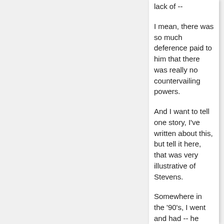lack of --
I mean, there was so much deference paid to him that there was really no countervailing powers.
And I want to tell one story, I've written about this, but tell it here, that was very illustrative of Stevens.
Somewhere in the '90's, I went and had -- he invited -- I